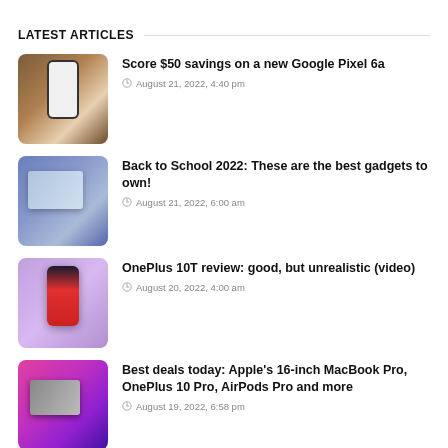LATEST ARTICLES
Score $50 savings on a new Google Pixel 6a
Back to School 2022: These are the best gadgets to own!
OnePlus 10T review: good, but unrealistic (video)
Best deals today: Apple's 16-inch MacBook Pro, OnePlus 10 Pro, AirPods Pro and more